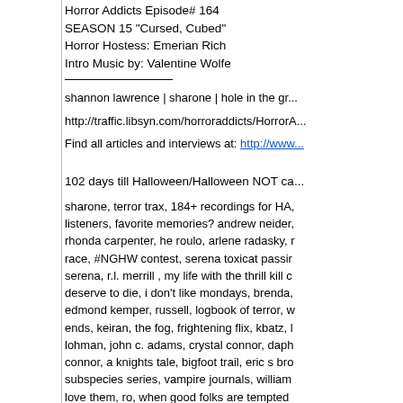Horror Addicts Episode# 164
SEASON 15 "Cursed, Cubed"
Horror Hostess: Emerian Rich
Intro Music by: Valentine Wolfe
shannon lawrence | sharone | hole in the gr...
http://traffic.libsyn.com/horroraddicts/HorrorA...
Find all articles and interviews at: http://www...
102 days till Halloween/Halloween NOT ca...
sharone, terror trax, 184+ recordings for HA, listeners, favorite memories? andrew neider, rhonda carpenter, he roulo, arlene radasky, race, #NGHW contest, serena toxicat passi, serena, r.l. merrill , my life with the thrill kill c, deserve to die, i don't like mondays, brenda, edmond kemper, russell, logbook of terror, w ends, keiran, the fog, frightening flix, kbatz, lohman, john c. adams, crystal connor, daph connor, a knights tale, bigfoot trail, eric s bro, subspecies series, vampire journals, william love them, ro, when good folks are tempted, hellions submission call, killer shorts compe, budget movies thriving, the wretched, becky, coming next show, latinx month, submit lati, stage plays book, chilling chat, naching t kas
Serena Memorial:
https://www.facebook.com/Serena.Toxicat...